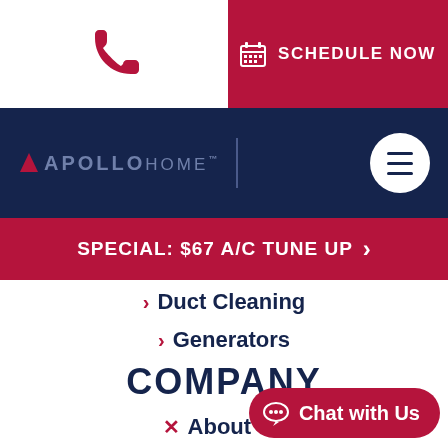[Figure (logo): Phone icon on white background left side of top bar]
SCHEDULE NOW
[Figure (logo): Apollo Home logo with hamburger menu button on dark navy navigation bar]
SPECIAL: $67 A/C TUNE UP
Duct Cleaning
Generators
COMPANY
About Us
Service Areas
Financing
Chat with Us